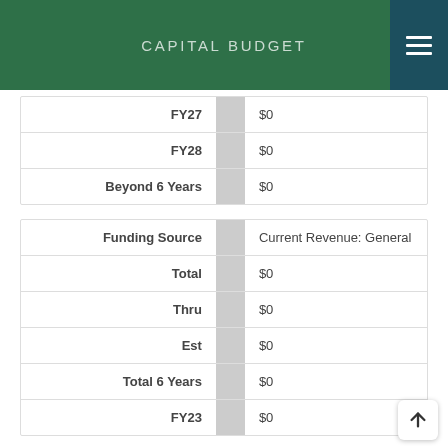CAPITAL BUDGET
| FY27 | $0 |
| FY28 | $0 |
| Beyond 6 Years | $0 |
| Funding Source | Current Revenue: General |
| Total | $0 |
| Thru | $0 |
| Est | $0 |
| Total 6 Years | $0 |
| FY23 | $0 |